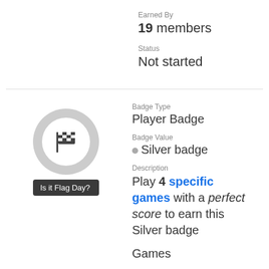Earned By
19 members
Status
Not started
[Figure (illustration): Badge icon showing a checkered flag inside a gray circle, with tooltip 'Is it Flag Day?']
Badge Type
Player Badge
Badge Value
Silver badge
Description
Play 4 specific games with a perfect score to earn this Silver badge
Games